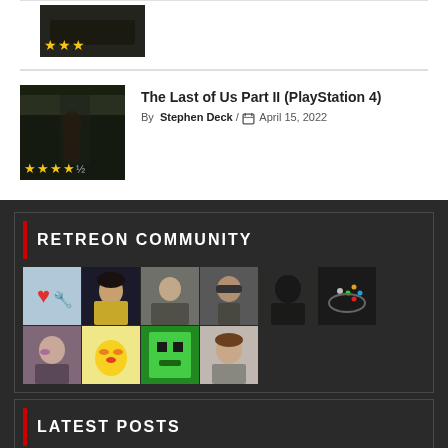[Figure (photo): Game screenshot thumbnail with 3 gold stars rating overlay]
The Last of Us Part II (PlayStation 4)
By Stephen Deck / April 15, 2022
[Figure (photo): The Last of Us Part II game screenshot with a character in forest, 4.5 gold stars rating overlay]
RETREON COMMUNITY
[Figure (photo): Grid of 10 community member avatar images]
LATEST POSTS